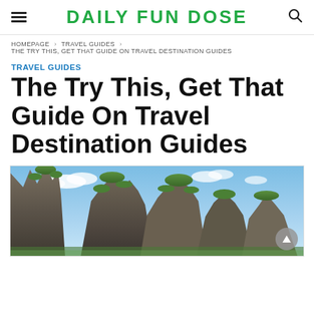DAILY FUN DOSE
HOMEPAGE › TRAVEL GUIDES › THE TRY THIS, GET THAT GUIDE ON TRAVEL DESTINATION GUIDES
TRAVEL GUIDES
The Try This, Get That Guide On Travel Destination Guides
[Figure (photo): Scenic landscape photo showing rocky karst mountains with green vegetation under a blue sky with clouds]